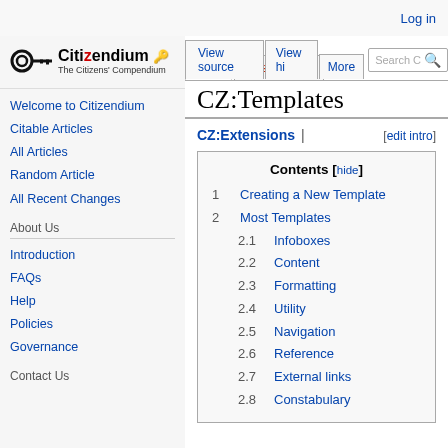Log in
[Figure (logo): Citizendium logo with key icon and text 'Citizendium - The Citizens' Compendium']
Welcome to Citizendium
Citable Articles
All Articles
Random Article
All Recent Changes
About Us
Introduction
FAQs
Help
Policies
Governance
Contact Us
CZ:Templates
CZ:Extensions | [edit intro]
| Contents |
| --- |
| 1 Creating a New Template |
| 2 Most Templates |
| 2.1 Infoboxes |
| 2.2 Content |
| 2.3 Formatting |
| 2.4 Utility |
| 2.5 Navigation |
| 2.6 Reference |
| 2.7 External links |
| 2.8 Constabulary |